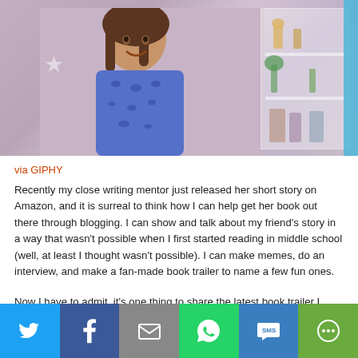[Figure (photo): A smiling young girl with Down syndrome wearing a blue patterned shirt, standing in front of a bookshelf and pink/purple decorated background with a blue stripe on the right side.]
via GIPHY
Recently my close writing mentor just released her short story on Amazon, and it is surreal to think how I can help get her book out there through blogging. I can show and talk about my friend's story in a way that wasn't possible when I first started reading in middle school (well, at least I thought wasn't possible). I can make memes, do an interview, and make a fan-made book trailer to name a few fun ones.
Now I have to admit, it's one thing to share the latest book trailer I made, but it's whole other thing when I'm asked if I would be interested is hosting
[Figure (infographic): Social media sharing bar with six buttons: Twitter (blue), Facebook (dark blue), Email (grey), WhatsApp (green), SMS (blue), More (light green)]